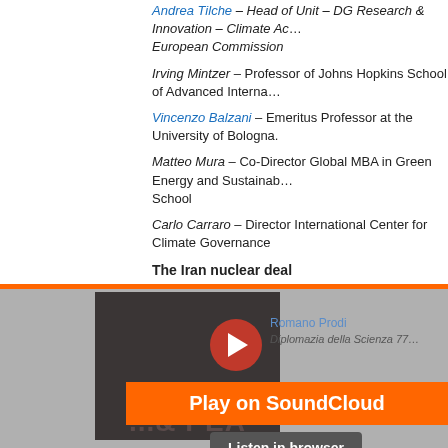Andrea Tilche – Head of Unit – DG Research & Innovation – Climate Action, European Commission
Irving Mintzer – Professor of Johns Hopkins School of Advanced International Studies
Vincenzo Balzani – Emeritus Professor at the University of Bologna.
Matteo Mura – Co-Director Global MBA in Green Energy and Sustainability School
Carlo Carraro – Director International Center for Climate Governance
The Iran nuclear deal
[Figure (screenshot): SoundCloud embedded player for Romano Prodi Diplomazia della Scienza 77 episode. Shows album art, play button, 'Play on SoundCloud' orange bar, 'Listen in browser' button, and 'Privacy policy' link.]
Speakers:
Cristina Russo – DG Research and Innovation at the European Commission
Adnan Tabatabai – CEO of Center for Applied Research in Partnership
Sanam Vakil – Adjunct Professor of Middle East Studies Johns Hopkins